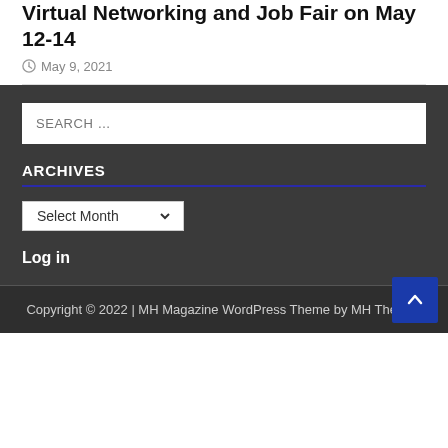Virtual Networking and Job Fair on May 12-14
May 9, 2021
SEARCH …
ARCHIVES
Select Month
Log in
Copyright © 2022 | MH Magazine WordPress Theme by MH Themes